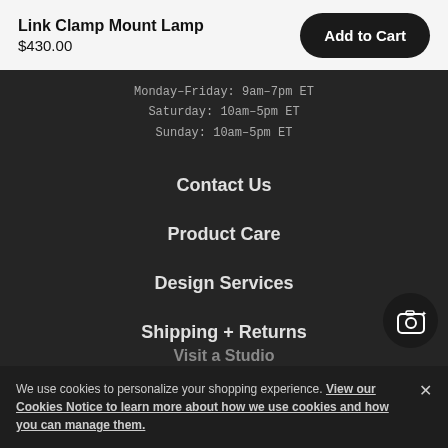Link Clamp Mount Lamp
$430.00
Add to Cart
Monday–Friday: 9am–7pm ET
Saturday: 10am–5pm ET
Sunday: 10am–5pm ET
Contact Us
Product Care
Design Services
Shipping + Returns
Visit a Studio
We use cookies to personalize your shopping experience. View our Cookies Notice to learn more about how we use cookies and how you can manage them.